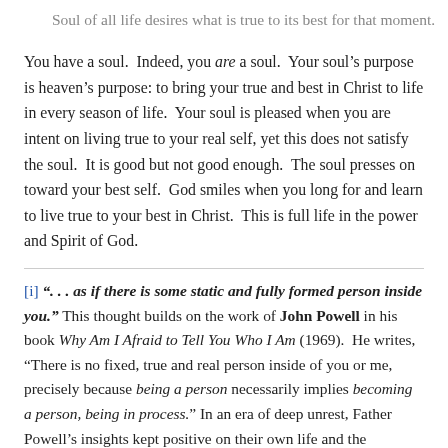Soul of all life desires what is true to its best for that moment.
You have a soul.  Indeed, you are a soul.  Your soul’s purpose is heaven’s purpose: to bring your true and best in Christ to life in every season of life.  Your soul is pleased when you are intent on living true to your real self, yet this does not satisfy the soul.  It is good but not good enough.  The soul presses on toward your best self.  God smiles when you long for and learn to live true to your best in Christ.  This is full life in the power and Spirit of God.
[i] “. . . as if there is some static and fully formed person inside you.” This thought builds on the work of John Powell in his book Why Am I Afraid to Tell You Who I Am (1969).  He writes, “There is no fixed, true and real person inside of you or me, precisely because being a person necessarily implies becoming a person, being in process.” In an era of deep unrest, Father Powell’s insights kept positive on their own life and the…